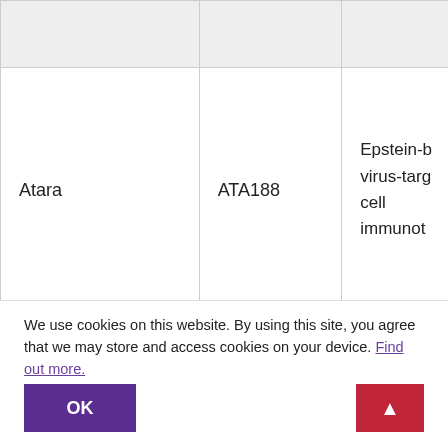| Company | Drug | Description |
| --- | --- | --- |
|  |  |  |
| Atara | ATA188 | Epstein-B
virus-targ
cell
immunot |
|  |  |  |
We use cookies on this website. By using this site, you agree that we may store and access cookies on your device. Find out more.